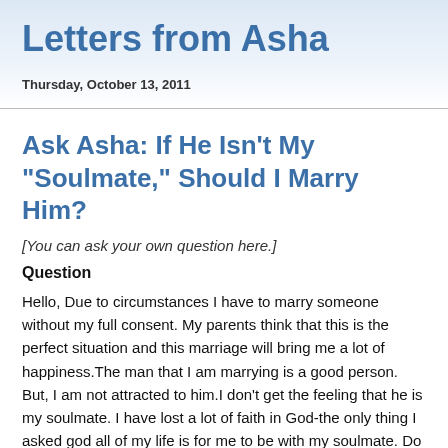Letters from Asha
Thursday, October 13, 2011
Ask Asha: If He Isn't My "Soulmate," Should I Marry Him?
[You can ask your own question here.]
Question
Hello, Due to circumstances I have to marry someone without my full consent. My parents think that this is the perfect situation and this marriage will bring me a lot of happiness.The man that I am marrying is a good person. But, I am not attracted to him.I don't get the feeling that he is my soulmate. I have lost a lot of faith in God-the only thing I asked god all of my life is for me to be with my soulmate. Do